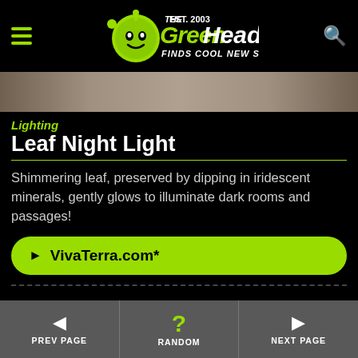The Green Head – Finds Cool New Stuff!
[Figure (screenshot): Product image strip showing a room scene with beige/brown tones]
Lighting
Leaf Night Light
Shimmering leaf, preserved by dipping in iridescent minerals, gently glows to illuminate dark rooms and passages!
► VivaTerra.com*
[Figure (screenshot): Bottom product image strip]
◄ PREV PAGE   ? RANDOM   ► NEXT PAGE